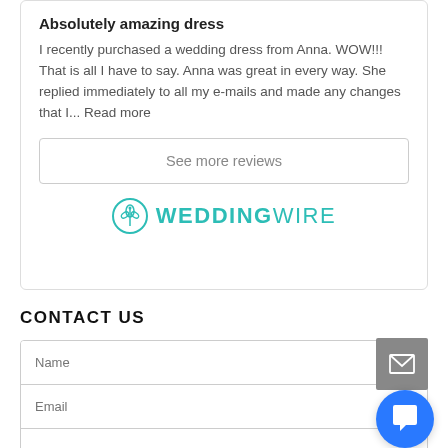Absolutely amazing dress
I recently purchased a wedding dress from Anna. WOW!!! That is all I have to say. Anna was great in every way. She replied immediately to all my e-mails and made any changes that I... Read more
See more reviews
[Figure (logo): WeddingWire logo with teal circular flower icon and WEDDINGWIRE text in teal]
CONTACT US
Name
Email
Type your message...